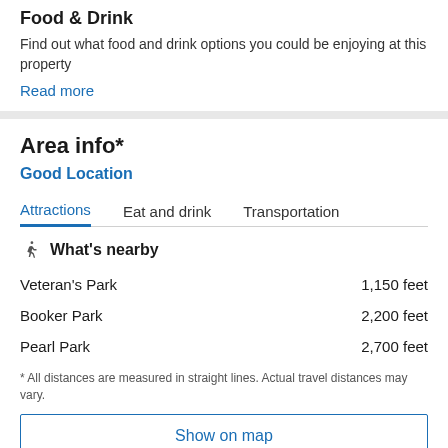Food & Drink
Find out what food and drink options you could be enjoying at this property
Read more
Area info*
Good Location
Attractions   Eat and drink   Transportation
What's nearby
Veteran's Park   1,150 feet
Booker Park   2,200 feet
Pearl Park   2,700 feet
* All distances are measured in straight lines. Actual travel distances may vary.
Show on map